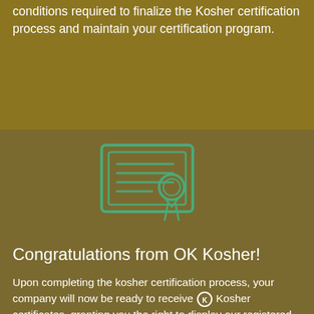conditions required to finalize the Kosher certification process and maintain your certification program.
[Figure (illustration): Certificate/diploma icon with decorative border, text lines, and a seal/ribbon badge, rendered in green outline style]
Congratulations from OK Kosher!
Upon completing the kosher certification process, your company will now be ready to receive ® Kosher certificates, granting you the right to display our registered, trademarked ® symbol on certified products and marketing materials. At this point, you will be assigned an Account Representative – your dedicated contact here at ®Kosher, who will assist you with any needs you may have pertaining to